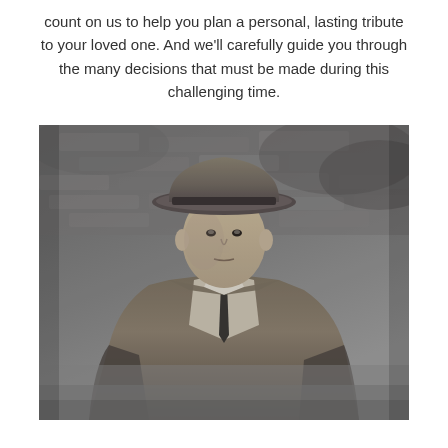count on us to help you plan a personal, lasting tribute to your loved one. And we'll carefully guide you through the many decisions that must be made during this challenging time.
[Figure (photo): Black and white vintage photograph of an older man wearing a wide-brimmed hat and a suit with a tie, standing outdoors against a stone or concrete wall background.]